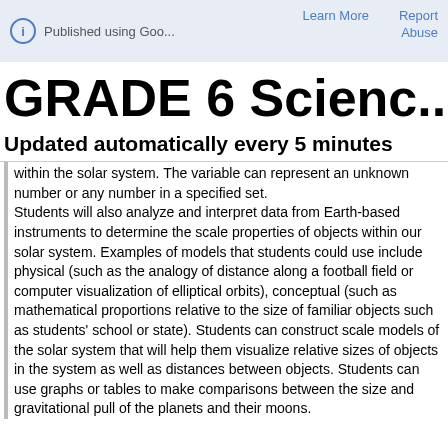Published using Goo...   Learn More   Report   Abuse
GRADE 6 Scienc...
Updated automatically every 5 minutes
within the solar system. The variable can represent an unknown number or any number in a specified set. Students will also analyze and interpret data from Earth-based instruments to determine the scale properties of objects within our solar system. Examples of models that students could use include physical (such as the analogy of distance along a football field or computer visualization of elliptical orbits), conceptual (such as mathematical proportions relative to the size of familiar objects such as students' school or state). Students can construct scale models of the solar system that will help them visualize relative sizes of objects in the system as well as distances between objects. Students can use graphs or tables to make comparisons between the size and gravitational pull of the planets and their moons.